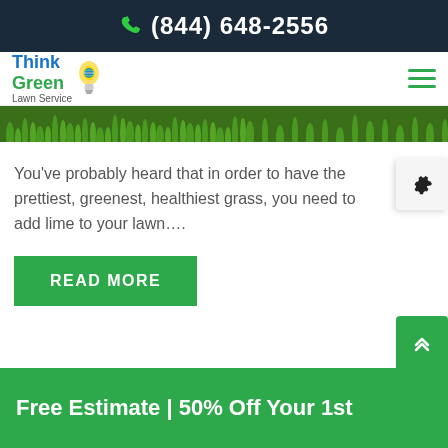(844) 648-2556
[Figure (logo): Think Green Lawn Service logo with lightbulb icon]
[Figure (photo): Close-up photo of green grass blades]
You’ve probably heard that in order to have the prettiest, greenest, healthiest grass, you need to add lime to your lawn….
READ MORE
Free Estimate | 50% Off Your 1st